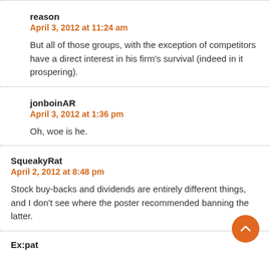reason
April 3, 2012 at 11:24 am
But all of those groups, with the exception of competitors have a direct interest in his firm's survival (indeed in it prospering).
jonboinAR
April 3, 2012 at 1:36 pm
Oh, woe is he.
SqueakyRat
April 2, 2012 at 8:48 pm
Stock buy-backs and dividends are entirely different things, and I don't see where the poster recommended banning the latter.
Ex:pat